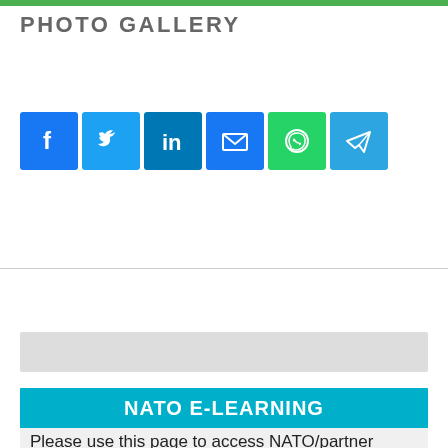PHOTO GALLERY
[Figure (infographic): Social media sharing icons: Facebook, Twitter, LinkedIn, Email, WhatsApp, Telegram]
NATO E-LEARNING
Please use this page to access NATO/partner online